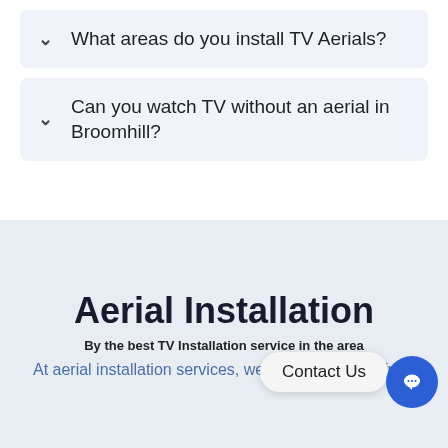What areas do you install TV Aerials?
Can you watch TV without an aerial in Broomhill?
Aerial Installation
By the best TV Installation service in the area
At aerial installation services, we offer everything from